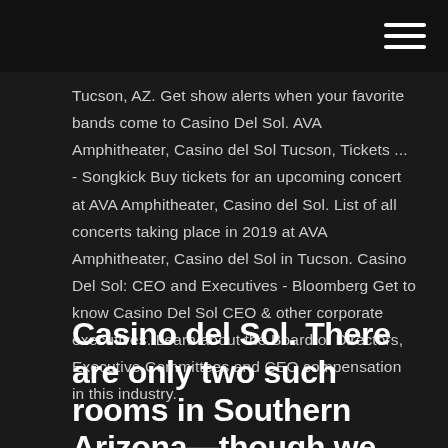Tucson, AZ. Get show alerts when your favorite bands come to Casino Del Sol. AVA Amphitheater, Casino del Sol Tucson, Tickets ... - Songkick Buy tickets for an upcoming concert at AVA Amphitheater, Casino del Sol. List of all concerts taking place in 2019 at AVA Amphitheater, Casino del Sol in Tucson. Casino Del Sol: CEO and Executives - Bloomberg Get to know Casino Del Sol CEO & other corporate executives. Learn about the Board of Directors, Executive Committees and CEO compensation in this industry.
Casino del Sol. There are only two such rooms in Southern Arizona—though we can point